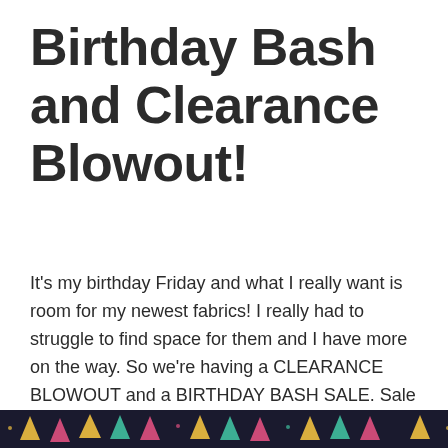Birthday Bash and Clearance Blowout!
It's my birthday Friday and what I really want is room for my newest fabrics! I really had to struggle to find space for them and I have more on the way. So we're having a CLEARANCE BLOWOUT and a BIRTHDAY BASH SALE. Sale is Thursday thru Saturday. Come early for the best selection at these prices.
[Figure (illustration): Decorative banner with colorful triangles/pennants on a dark background at the bottom of the page]